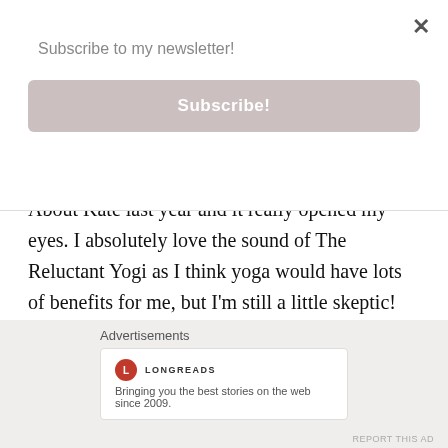Subscribe to my newsletter!
Subscribe!
About Kate last year and it really opened my eyes. I absolutely love the sound of The Reluctant Yogi as I think yoga would have lots of benefits for me, but I'm still a little skeptic! We All Know How This Ends definitely sounds interesting, but I think I might have to wait a few years before reading it x
★ Loading...
REPLY
Advertisements
LONGREADS
Bringing you the best stories on the web since 2009.